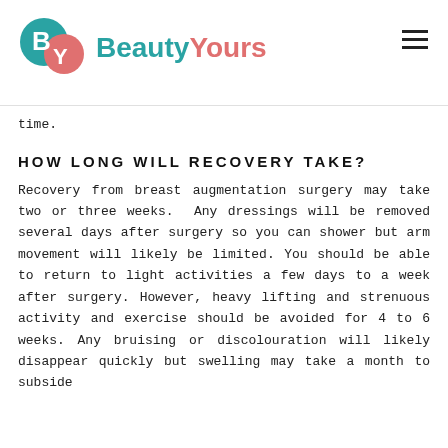BeautyYours logo and navigation
time.
HOW LONG WILL RECOVERY TAKE?
Recovery from breast augmentation surgery may take two or three weeks. Any dressings will be removed several days after surgery so you can shower but arm movement will likely be limited. You should be able to return to light activities a few days to a week after surgery. However, heavy lifting and strenuous activity and exercise should be avoided for 4 to 6 weeks. Any bruising or discolouration will likely disappear quickly but swelling may take a month to subside